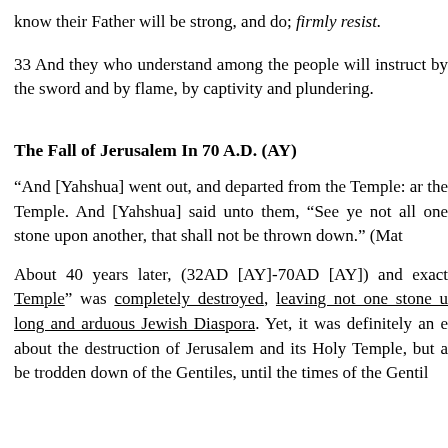know their Father will be strong, and do; firmly resist.
33 And they who understand among the people will instruct by the sword and by flame, by captivity and plundering.
The Fall of Jerusalem In 70 A.D. (AY)
“And [Yahshua] went out, and departed from the Temple: and the Temple. And [Yahshua] said unto them, “See ye not all one stone upon another, that shall not be thrown down.” (Mat
About 40 years later, (32AD [AY]-70AD [AY]) and exact Temple” was completely destroyed, leaving not one stone u long and arduous Jewish Diaspora. Yet, it was definitely an e about the destruction of Jerusalem and its Holy Temple, but a be trodden down of the Gentiles, until the times of the Gentil